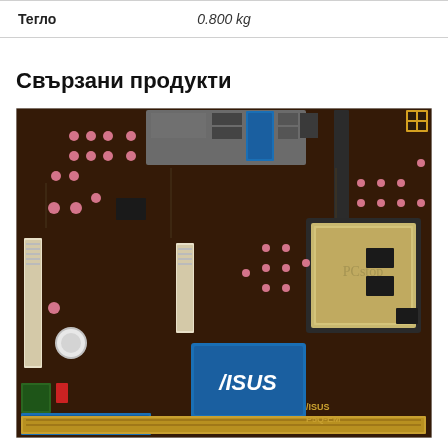| Тегло |  |
| --- | --- |
| Тегло | 0.800 kg |
Свързани продукти
[Figure (photo): Photo of an ASUS P5Q-EM motherboard with CPU socket, RAM slots, PCI slots, chipset heatsink with ASUS branding, and various capacitors and connectors. A 'PCstop' watermark is visible on the CPU socket area.]